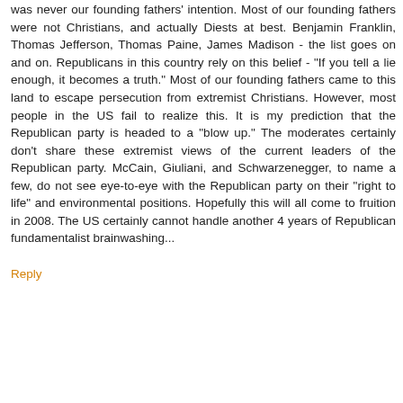everyone in the US is a Christian-right-wing-fundamentalist. It's such a shame that the US is often viewed as a fanatical Christian country. This was never our founding fathers' intention. Most of our founding fathers were not Christians, and actually Diests at best. Benjamin Franklin, Thomas Jefferson, Thomas Paine, James Madison - the list goes on and on. Republicans in this country rely on this belief - "If you tell a lie enough, it becomes a truth." Most of our founding fathers came to this land to escape persecution from extremist Christians. However, most people in the US fail to realize this. It is my prediction that the Republican party is headed to a "blow up." The moderates certainly don't share these extremist views of the current leaders of the Republican party. McCain, Giuliani, and Schwarzenegger, to name a few, do not see eye-to-eye with the Republican party on their "right to life" and environmental positions. Hopefully this will all come to fruition in 2008. The US certainly cannot handle another 4 years of Republican fundamentalist brainwashing...
Reply